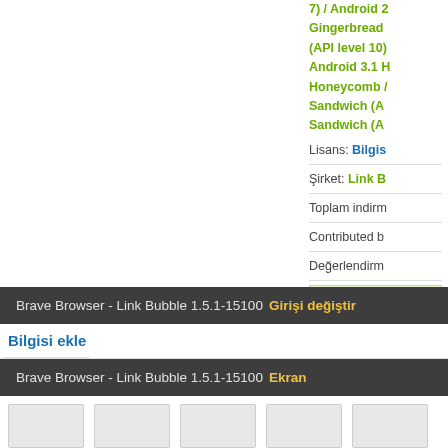7) / Android 2.3 Gingerbread (API level 10) / Android 3.1 Honeycomb / Ice Cream Sandwich (A... / Ice Cream Sandwich (A...
Lisans: Bilgisi
Şirket: Link B...
Toplam indirm...
Contributed b...
Değerlendirm...
Hemen
Denenm...
Brave Browser - Link Bubble 1.5.1-15100  Girişi değiştir
Bilgisi ekle
Brave Browser - Link Bubble 1.5.1-15100  Ekran
[Figure (screenshot): Five thumbnail images at the bottom of the page]